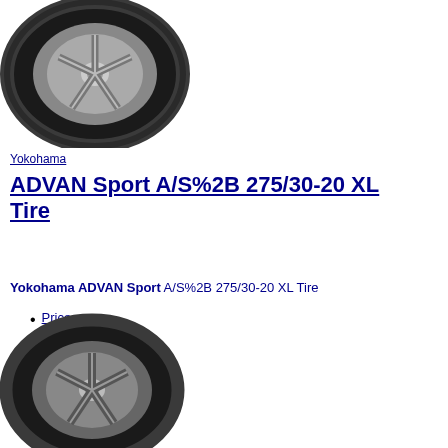[Figure (photo): Photo of a Yokohama ADVAN Sport tire on a silver alloy wheel, viewed at a slight angle from the front-left.]
Yokohama
ADVAN Sport A/S%2B 275/30-20 XL Tire
Yokohama ADVAN Sport A/S%2B 275/30-20 XL Tire
Price: $245.32
Availability: In Stock
[Figure (photo): Photo of a second Yokohama tire on a dark alloy wheel, partially visible at the bottom of the page.]